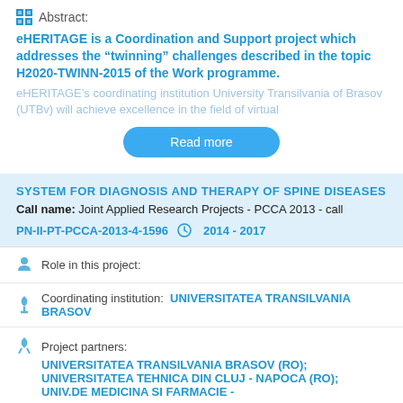Abstract:
eHERITAGE is a Coordination and Support project which addresses the “twinning” challenges described in the topic H2020-TWINN-2015 of the Work programme.
eHERITAGE’s coordinating institution University Transilvania of Brasov (UTBv) will achieve excellence in the field of virtual
Read more
SYSTEM FOR DIAGNOSIS AND THERAPY OF SPINE DISEASES
Call name: Joint Applied Research Projects - PCCA 2013 - call
PN-II-PT-PCCA-2013-4-1596  2014 - 2017
Role in this project:
Coordinating institution: UNIVERSITATEA TRANSILVANIA BRASOV
Project partners:
UNIVERSITATEA TRANSILVANIA BRASOV (RO); UNIVERSITATEA TEHNICA DIN CLUJ - NAPOCA (RO); UNIV.DE MEDICINA SI FARMACIE -